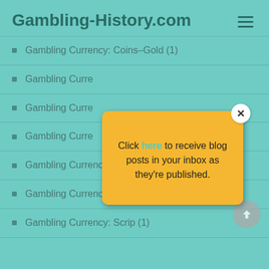Gambling-History.com
Gambling Currency: Coins–Gold (1)
Gambling Curre…
Gambling Curre…
Gambling Curre…
Gambling Currency: Pebbles (1)
Gambling Currency: Pseudo Coins / Slugs (1)
Gambling Currency: Scrip (1)
[Figure (screenshot): Yellow popup modal with close button (×). Text reads: Click here to receive blog posts in your inbox as they're published. 'here' is in teal/green color.]